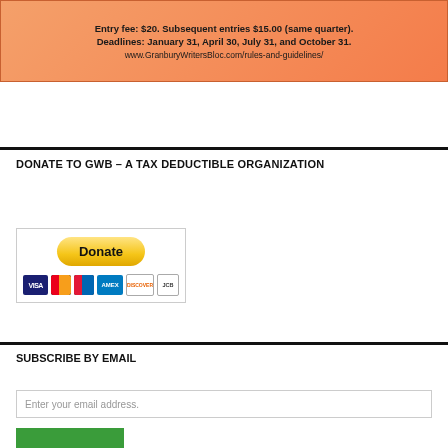[Figure (infographic): Orange gradient banner with contest entry fee and deadline information, and website URL]
DONATE TO GWB – A TAX DEDUCTIBLE ORGANIZATION
[Figure (infographic): PayPal Donate button with payment card logos (Visa, Mastercard, Discover, Amex, JCB)]
SUBSCRIBE BY EMAIL
Enter your email address.